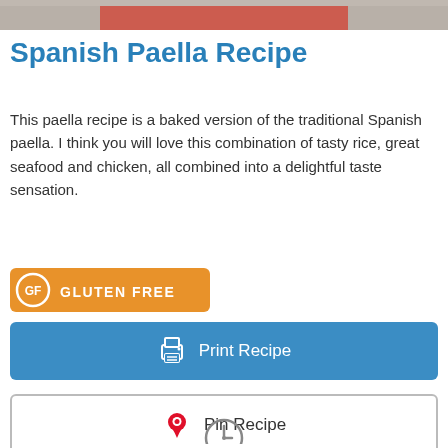[Figure (photo): Top portion of a food photo showing a paella dish, partially cropped]
Spanish Paella Recipe
This paella recipe is a baked version of the traditional Spanish paella. I think you will love this combination of tasty rice, great seafood and chicken, all combined into a delightful taste sensation.
[Figure (other): Orange badge with GF icon and GLUTEN FREE text]
[Figure (other): Blue Print Recipe button with printer icon]
[Figure (other): White Pin Recipe button with Pinterest P icon]
[Figure (other): Blue Add to My Recipes button with notebook icon, and gray back-to-top arrow button in lower right corner]